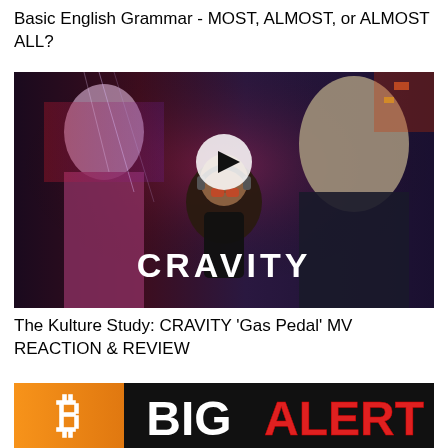Basic English Grammar - MOST, ALMOST, or ALMOST ALL?
[Figure (screenshot): YouTube video thumbnail showing CRAVITY music video reaction with play button overlay and text CRAVITY]
The Kulture Study: CRAVITY 'Gas Pedal' MV REACTION & REVIEW
[Figure (screenshot): Bitcoin BIG ALERT thumbnail with orange Bitcoin logo and red bold text BIG ALERT on black background]